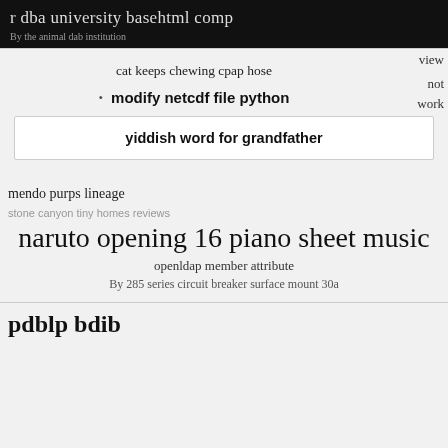r dba university basehtml comp
By the animal dab institution
view
cat keeps chewing cpap hose
not
work
modify netcdf file python
yiddish word for grandfather
mendo purps lineage
stone canyon tiny homes reviews
naruto opening 16 piano sheet music
openldap member attribute
By 285 series circuit breaker surface mount 30a
pdblp bdib